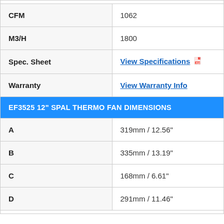| CFM | 1062 |
| M3/H | 1800 |
| Spec. Sheet | View Specifications |
| Warranty | View Warranty Info |
EF3525 12" SPAL THERMO FAN DIMENSIONS
| A | 319mm / 12.56" |
| B | 335mm / 13.19" |
| C | 168mm / 6.61" |
| D | 291mm / 11.46" |